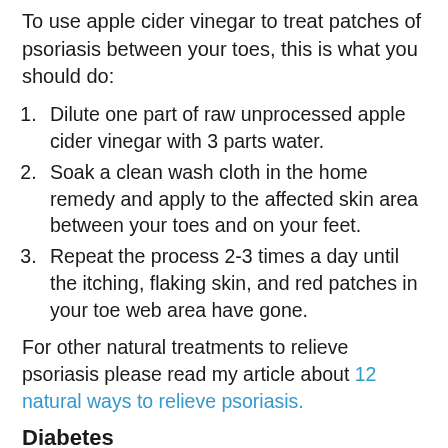To use apple cider vinegar to treat patches of psoriasis between your toes, this is what you should do:
Dilute one part of raw unprocessed apple cider vinegar with 3 parts water.
Soak a clean wash cloth in the home remedy and apply to the affected skin area between your toes and on your feet.
Repeat the process 2-3 times a day until the itching, flaking skin, and red patches in your toe web area have gone.
For other natural treatments to relieve psoriasis please read my article about 12 natural ways to relieve psoriasis.
Diabetes